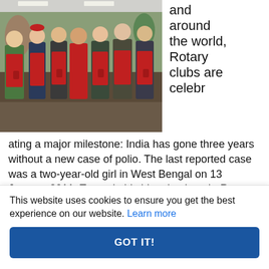[Figure (photo): Group of people wearing red aprons (Salvation Army style) standing together indoors, some holding red donation kettles or bells. They appear to be at a Rotary club volunteering event.]
and around the world, Rotary clubs are celebrating a major milestone: India has gone three years without a new case of polio. The last reported case was a two-year-old girl in West Bengal on 13 January 2011. To mark this historic triumph, Rotary clubs illuminated landmarks and iconic structures throughout the country with four simple but powerful
This website uses cookies to ensure you get the best experience on our website. Learn more
GOT IT!